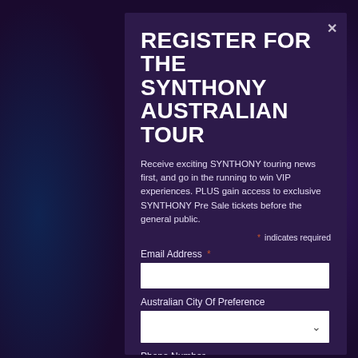REGISTER FOR THE SYNTHONY AUSTRALIAN TOUR
Receive exciting SYNTHONY touring news first, and go in the running to win VIP experiences. PLUS gain access to exclusive SYNTHONY Pre Sale tickets before the general public.
* indicates required
Email Address *
Australian City Of Preference
Phone Number